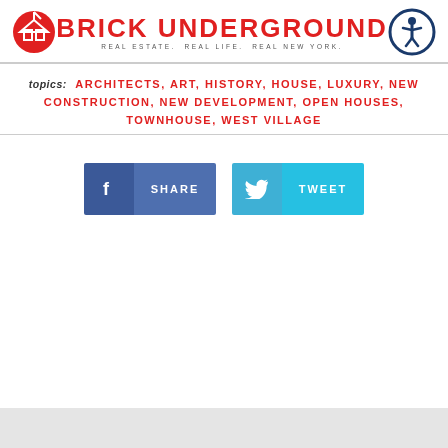BRICK UNDERGROUND — REAL ESTATE. REAL LIFE. REAL NEW YORK.
topics: ARCHITECTS, ART, HISTORY, HOUSE, LUXURY, NEW CONSTRUCTION, NEW DEVELOPMENT, OPEN HOUSES, TOWNHOUSE, WEST VILLAGE
[Figure (infographic): Facebook Share button and Twitter Tweet button side by side]
[Figure (other): Gray footer bar at bottom of page]